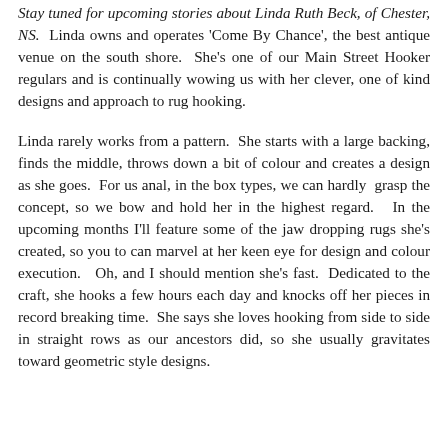Stay tuned for upcoming stories about Linda Ruth Beck, of Chester, NS. Linda owns and operates 'Come By Chance', the best antique venue on the south shore. She's one of our Main Street Hooker regulars and is continually wowing us with her clever, one of kind designs and approach to rug hooking.
Linda rarely works from a pattern. She starts with a large backing, finds the middle, throws down a bit of colour and creates a design as she goes. For us anal, in the box types, we can hardly grasp the concept, so we bow and hold her in the highest regard. In the upcoming months I'll feature some of the jaw dropping rugs she's created, so you to can marvel at her keen eye for design and colour execution. Oh, and I should mention she's fast. Dedicated to the craft, she hooks a few hours each day and knocks off her pieces in record breaking time. She says she loves hooking from side to side in straight rows as our ancestors did, so she usually gravitates toward geometric style designs.